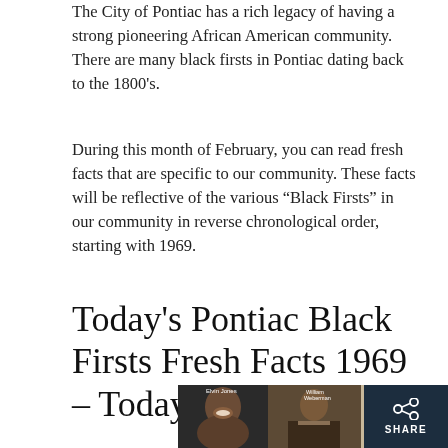The City of Pontiac has a rich legacy of having a strong pioneering African American community. There are many black firsts in Pontiac dating back to the 1800's.
During this month of February, you can read fresh facts that are specific to our community. These facts will be reflective of the various “Black Firsts” in our community in reverse chronological order, starting with 1969.
Today's Pontiac Black Firsts Fresh Facts 1969 – Today
[Figure (photo): A collage of three historical black and white photographs showing African American individuals, with labels 'Elvin Jones', a man at a podium labeled 'William Weberman', and a portrait of a woman.]